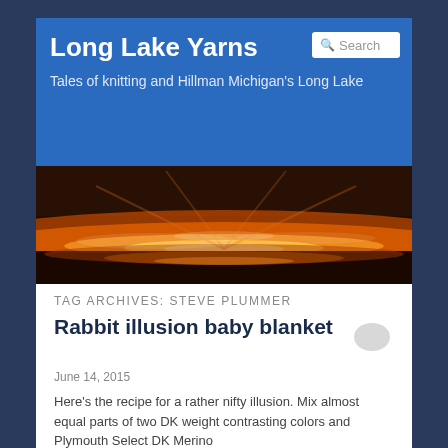Long Lake Yarns
Tales of knitting and Hillman Michigan's Long Lake
[Figure (photo): Landscape photo showing a warm orange sunrise or sunset over a lake with mist and trees silhouetted in the background]
TAG ARCHIVES: STEVE PLUMMER
Rabbit illusion baby blanket
June 14, 2015
Here's the recipe for a rather nifty illusion. Mix almost equal parts of two DK weight contrasting colors and Plymouth Select DK Merino